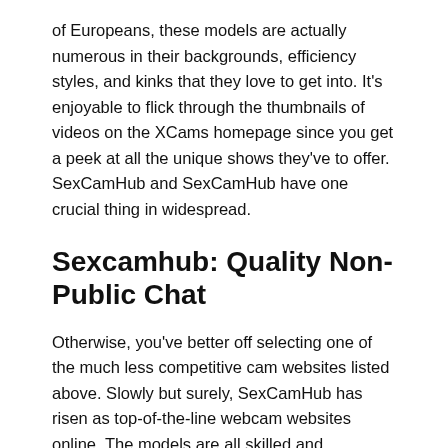of Europeans, these models are actually numerous in their backgrounds, efficiency styles, and kinks that they love to get into. It's enjoyable to flick through the thumbnails of videos on the XCams homepage since you get a peek at all the unique shows they've to offer. SexCamHub and SexCamHub have one crucial thing in widespread.
Sexcamhub: Quality Non-Public Chat
Otherwise, you've better off selecting one of the much less competitive cam websites listed above. Slowly but surely, SexCamHub has risen as top-of-the-line webcam websites online. The models are all skilled and confident, and you may choose from a variety, including ladies, transfolk, and more. Private shows can value you, and some models might cost by the minute. You get free